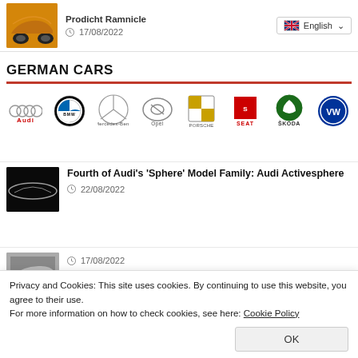[Figure (photo): Yellow/orange car photo thumbnail]
Prodicht Ramnicle
17/08/2022
English (language selector dropdown)
GERMAN CARS
[Figure (logo): Row of German car brand logos: Audi, BMW, Mercedes-Benz, Opel, Porsche, SEAT, Skoda, VW]
[Figure (photo): Dark silhouette of a car concept (Audi Activesphere)]
Fourth of Audi's 'Sphere' Model Family: Audi Activesphere
22/08/2022
[Figure (photo): Partially visible car photo thumbnail (BMW article)]
17/08/2022
Privacy and Cookies: This site uses cookies. By continuing to use this website, you agree to their use.
For more information on how to check cookies, see here: Cookie Policy
OK